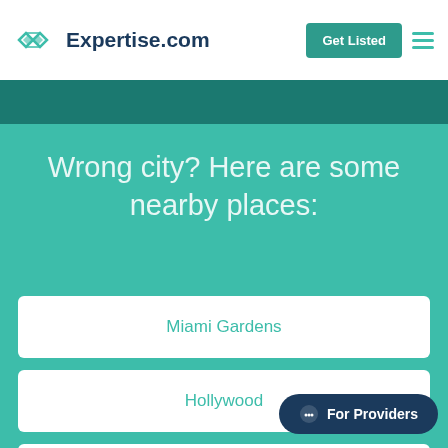Expertise.com — Get Listed
Wrong city? Here are some nearby places:
Miami Gardens
Hollywood
Davie